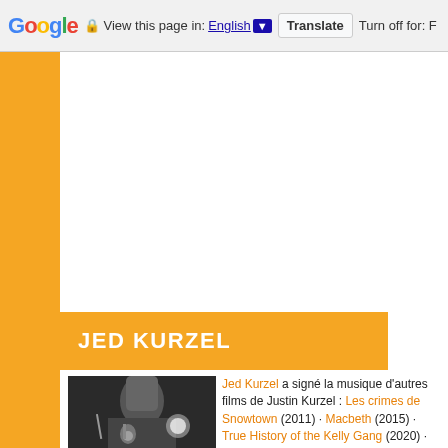Google  View this page in: English  Translate  Turn off for: F
JED KURZEL
[Figure (photo): Black and white photo of a man with medium-length hair singing into a microphone on stage, with a bright stage light behind him.]
Jed Kurzel a signé la musique d'autres films de Justin Kurzel : Les crimes de Snowtown (2011) · Macbeth (2015) · True History of the Kelly Gang (2020) · Nitram (2022) ·
Jed Kurzel a également écrit le...